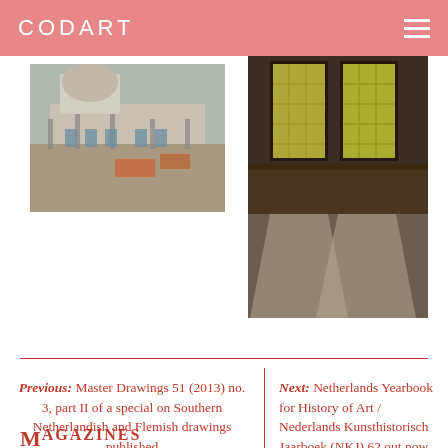CODART
[Figure (photo): Aerial view of a large historic building under renovation/construction]
[Figure (photo): Interior room with two large windows showing yellow/green patterned light on dark wooden walls and stone floor]
Previous: Master Drawings 51 (2013) no. 3, part II of a special on Southern Netherlandish and Flemish drawings published
Next: Netherlands Yearbook for History of Art / Nederlands Kunsthistorisch Jaarboek (NKJ) 62 out now
MAGAZINES